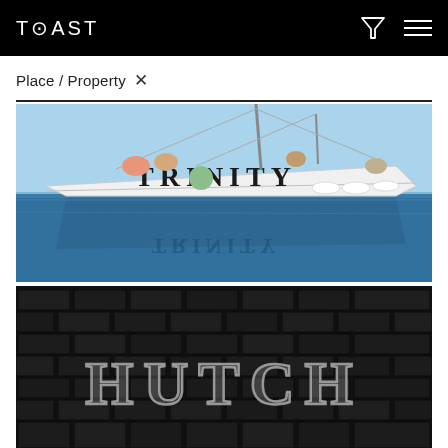TOAST
Place / Property ×
[Figure (photo): Sailboat named TRINITY on blue water, with people on deck, photographed half above and half below the waterline]
[Figure (photo): Dark brick wall background with HUTCH text in large decorative letters, dark/moody atmosphere]